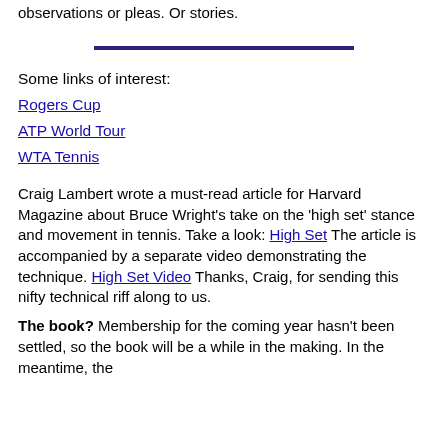observations or pleas. Or stories.
[Figure (other): Horizontal dark navy/purple divider line]
Some links of interest:
Rogers Cup
ATP World Tour
WTA Tennis
Craig Lambert wrote a must-read article for Harvard Magazine about Bruce Wright's take on the 'high set' stance and movement in tennis. Take a look: High Set The article is accompanied by a separate video demonstrating the technique. High Set Video Thanks, Craig, for sending this nifty technical riff along to us.
The book? Membership for the coming year hasn't been settled, so the book will be a while in the making. In the meantime, the